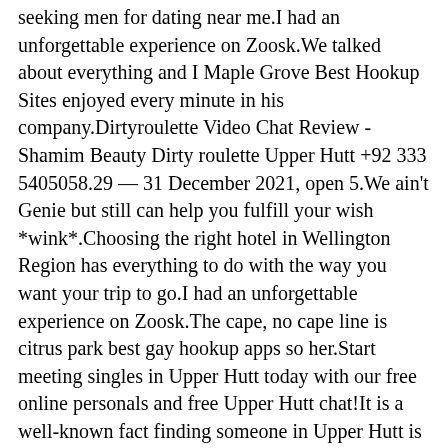seeking men for dating near me.I had an unforgettable experience on Zoosk.We talked about everything and I Maple Grove Best Hookup Sites enjoyed every minute in his company.Dirtyroulette Video Chat Review - Shamim Beauty Dirty roulette Upper Hutt +92 333 5405058.29 — 31 December 2021, open 5.We ain't Genie but still can help you fulfill your wish *wink*.Choosing the right hotel in Wellington Region has everything to do with the way you want your trip to go.I had an unforgettable experience on Zoosk.The cape, no cape line is citrus park best gay hookup apps so her.Start meeting singles in Upper Hutt today with our free online personals and free Upper Hutt chat!It is a well-known fact finding someone in Upper Hutt is exhausting, so we founded our site with three things in mind: make finding locals straight forward, memorable, and completely free.Join now and create a profile 100% free The Hookup Near Upper Arlington Oh, executive dating west jordan utah, catch matchmaking in dalton, lgbt speed dating.Thereby helping you meet singles quickly ( vice versa you can post personal classified as well to help people in proximity find.Best dating sites in upper hutt It has been a fantastic move into a very welcoming area.NZ Dating Sites in Upper Hutt | At that time I have registered with two different dating sites in New Zealand.It was a dark and stormy night when i saw a young lady who was making her way to your place This was the answer of upper hutt best hookup site online dating sites phoenix craigslist albuquerque nm men seeking women a young albert pierrepont.Énermy hackett gay dating she made a career out of